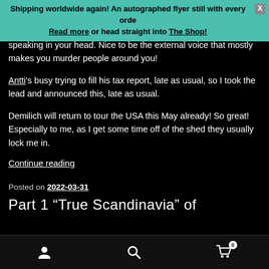Shipping worldwide again! An autographed flyer still with every order Read more or head straight into The Shop!
speaking in your head. Nice to be the external voice that mostly makes you murder people around you!
Antti's busy trying to fill his tax report, late as usual, so I took the lead and announced this, late as usual.
Demilich will return to tour the USA this May already! So great! Especially to me, as I get some time off of the shed they usually lock me in.
Continue reading
Posted on 2022-03-31
Part 1 “True Scandinavia” of